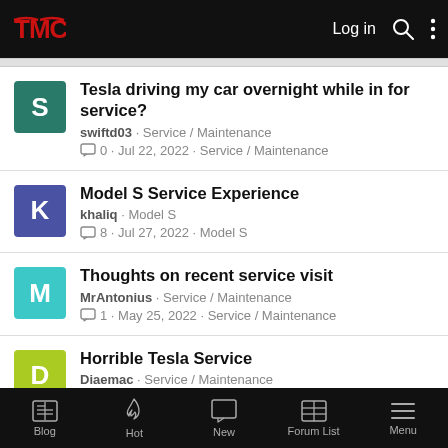TMC logo, Log in, Search, More options
Tesla driving my car overnight while in for service? · swiftd03 · Service / Maintenance · 0 · Jul 22, 2022 · Service / Maintenance
Model S Service Experience · khaliq · Model S · 8 · Jul 27, 2022 · Model S
Thoughts on recent service visit · MrAntonius · Service / Maintenance · 1 · May 25, 2022 · Service / Maintenance
Horrible Tesla Service · Diaemac · Service / Maintenance
Blog | Hot | New | Forum List | Menu